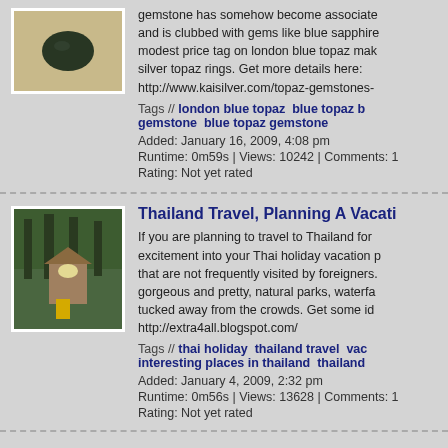[Figure (photo): Thumbnail of a dark gemstone on a sandy/tan background]
gemstone has somehow become associated and is clubbed with gems like blue sapphire modest price tag on london blue topaz mak silver topaz rings. Get more details here: http://www.kaisilver.com/topaz-gemstones-
Tags // london blue topaz blue topaz b gemstone blue topaz gemstone
Added: January 16, 2009, 4:08 pm
Runtime: 0m59s | Views: 10242 | Comments: 1
Rating: Not yet rated
Thailand Travel, Planning A Vacatio
[Figure (photo): Thumbnail of a forest/nature scene with trees and a structure]
If you are planning to travel to Thailand for excitement into your Thai holiday vacation p that are not frequently visited by foreigners. gorgeous and pretty, natural parks, waterfa tucked away from the crowds. Get some id http://extra4all.blogspot.com/
Tags // thai holiday thailand travel vac interesting places in thailand thailand
Added: January 4, 2009, 2:32 pm
Runtime: 0m56s | Views: 13628 | Comments: 1
Rating: Not yet rated